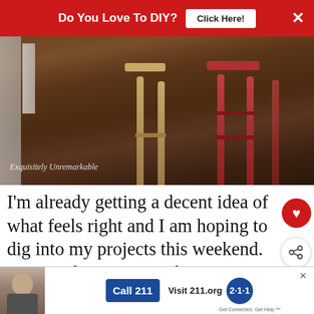[Figure (infographic): Red banner ad at top reading 'Do You Love To DIY?' with a white 'Click Here!' button and an X close button, on a red background.]
[Figure (photo): Photo of a hardwood floor with wooden bar stools — one natural wood colored and one red — with watermark text 'Exquisitely Unremarkable' in the lower left.]
I'm already getting a decent idea of what feels right and I am hoping to dig into my projects this weekend. I'm not planning on making too many changes. I'm going to
[Figure (infographic): Bottom advertisement banner with a photo of a man's face, buttons reading 'Call 211' and 'Visit 211.org', and a circular blue '2·1·1' badge.]